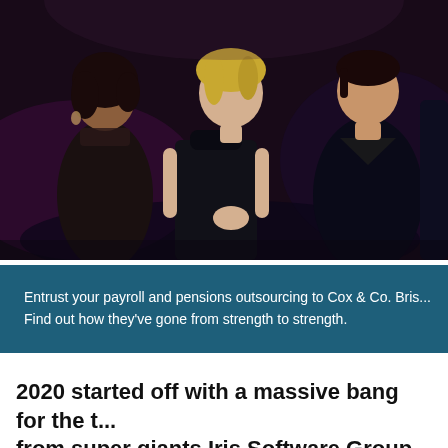[Figure (photo): Three women standing together at what appears to be a formal awards or gala event, all dressed in dark/black clothing, with a dark stage background with purple lighting.]
Entrust your payroll and pensions outsourcing to Cox & Co. Bris... Find out how they've gone from strength to strength.
2020 started off with a massive bang for the t... from super giants Iris Software Group and am... the UK's first organisation to represent payro...